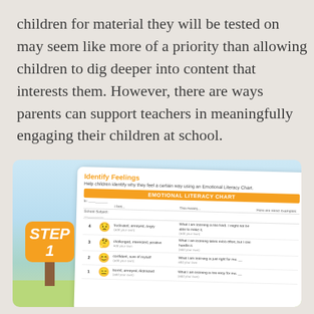children for material they will be tested on may seem like more of a priority than allowing children to dig deeper into content that interests them. However, there are ways parents can support teachers in meaningfully engaging their children at school.
[Figure (illustration): Educational illustration showing a 'Step 1' sign post on a grassy outdoor background, with a worksheet card titled 'Identify Feelings' featuring an Emotional Literacy Chart with emoji faces and feelings descriptions.]